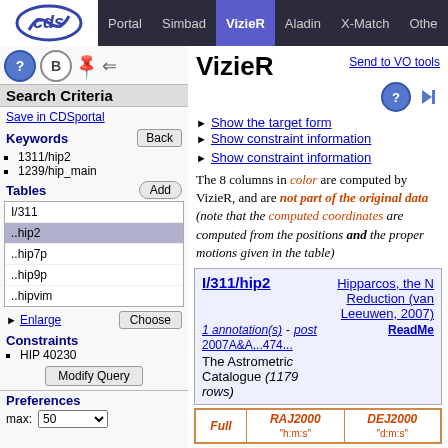Portal | Simbad | VizieR | Aladin | X-Match | Othe
VizieR
Send to VO tools
Search Criteria
Save in CDSportal
Keywords
1311/hip2
1239/hip_main
Tables
I/311
..hip2
..hip7p
..hip9p
..hipvim
Enlarge
Constraints
HIP 40230
Preferences
max: 50
Show the target form
Show constraint information
Show constraint information
The 8 columns in color are computed by VizieR, and are not part of the original data (note that the computed coordinates are computed from the positions and the proper motions given in the table)
I/311/hip2 – Hipparcos, the New Reduction (van Leeuwen, 2007) ReadMe 2007A&A...474... The Astrometric Catalogue (1179 rows)
| Full | RAJ2000 | DEJ2000 |
| --- | --- | --- |
|  | "h:m:s" | "d:m:s" |